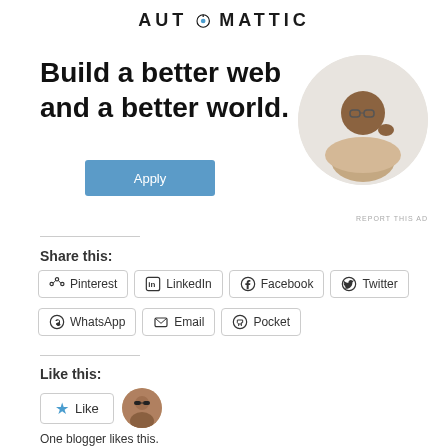[Figure (infographic): Automattic advertisement: 'Build a better web and a better world.' with Apply button and circular photo of man]
Share this:
Pinterest
LinkedIn
Facebook
Twitter
WhatsApp
Email
Pocket
Like this:
Like
One blogger likes this.